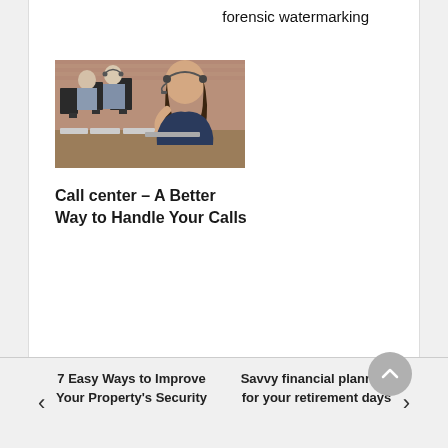forensic watermarking
[Figure (photo): Call center workers sitting at computers wearing headsets, a woman in the foreground holds her headset microphone]
Call center – A Better Way to Handle Your Calls
< 7 Easy Ways to Improve Your Property's Security
Savvy financial planning for your retirement days >